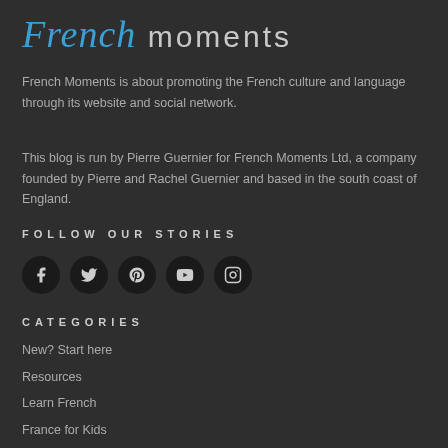French moments
French Moments is about promoting the French culture and language through its website and social network.
This blog is run by Pierre Guernier for French Moments Ltd, a company founded by Pierre and Rachel Guernier and based in the south coast of England.
FOLLOW OUR STORIES
[Figure (infographic): Social media icons for Facebook, Twitter, Pinterest, YouTube, and Instagram displayed as circular dark buttons]
CATEGORIES
New? Start here
Resources
Learn French
France for Kids